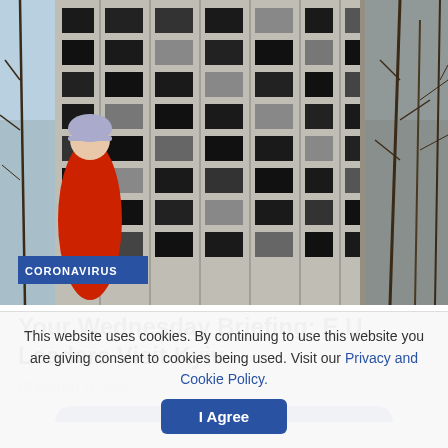[Figure (photo): A person in a red coat and grey hat standing in front of a damaged multi-story residential building with burnt-out windows, surrounded by bare winter trees and a blue sky. A 'CORONAVIRUS' category tag is overlaid in the bottom-left corner of the image.]
Your Wednesday Briefing: E.U. Leaders Visit Kyiv
MARCH 16, 2022
This website uses cookies. By continuing to use this website you are giving consent to cookies being used. Visit our Privacy and Cookie Policy.
I Agree